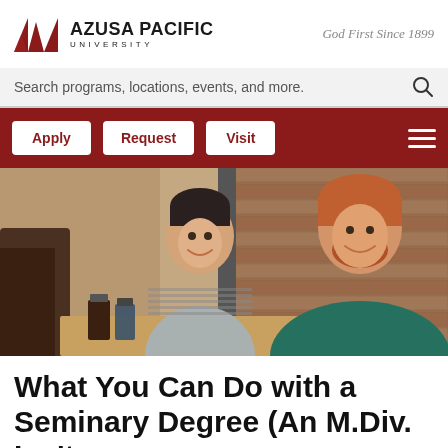[Figure (logo): Azusa Pacific University logo with red triangular APU emblem]
God First Since 1899
Search programs, locations, events, and more.
Apply  Request  Visit
[Figure (photo): Two men smiling and talking at a restaurant table, one in a striped shirt and one in a teal polo shirt, with brick wall background]
What You Can Do with a Seminary Degree (An M.Div. Isn't